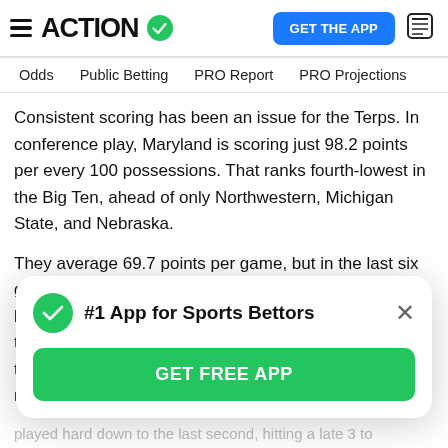ACTION [checkmark logo] | GET THE APP
Odds  Public Betting  PRO Report  PRO Projections
Consistent scoring has been an issue for the Terps. In conference play, Maryland is scoring just 98.2 points per every 100 possessions. That ranks fourth-lowest in the Big Ten, ahead of only Northwestern, Michigan State, and Nebraska.
They average 69.7 points per game, but in the last six games they are scoring just 63.7. The Terrapins have been prone to long scoring droughts and don't have that one playmaker who can secure a bucket during these stretches. They play at a slow pace and use the majority of
[Figure (screenshot): App promotion popup: '#1 App for Sports Bettors' with green checkmark icon, close button (×), and a green 'GET FREE APP' button]
played hard down to the last second, hitting a late 3 to